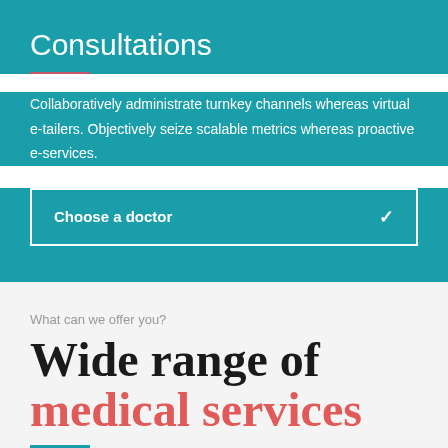Consultations
Collaboratively administrate turnkey channels whereas virtual e-tailers. Objectively seize scalable metrics whereas proactive e-services.
Choose a doctor
What can we offer you?
Wide range of medical services
Capitalize on low hanging fruit to identify a ballpark value added activity